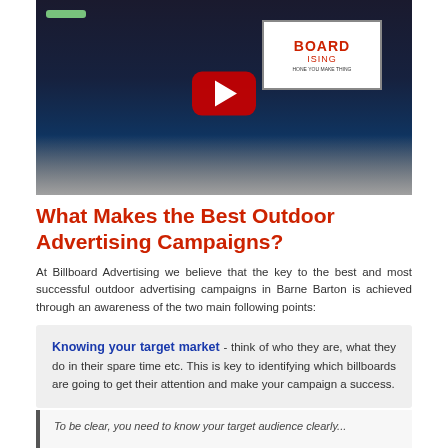[Figure (screenshot): YouTube video thumbnail showing a billboard advertisement in a train station tunnel, with a large red YouTube play button overlay. The image shows a dimly lit tunnel with a brightly lit billboard displaying 'BOARD ISING' text on the right side.]
What Makes the Best Outdoor Advertising Campaigns?
At Billboard Advertising we believe that the key to the best and most successful outdoor advertising campaigns in Barne Barton is achieved through an awareness of the two main following points:
Knowing your target market - think of who they are, what they do in their spare time etc. This is key to identifying which billboards are going to get their attention and make your campaign a success.
To be clear, you need to know your target audience clearly...